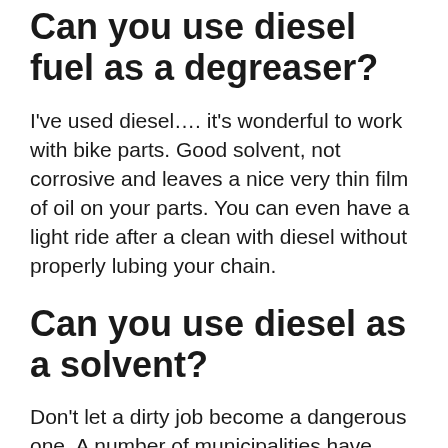Can you use diesel fuel as a degreaser?
I've used diesel…. it's wonderful to work with bike parts. Good solvent, not corrosive and leaves a nice very thin film of oil on your parts. You can even have a light ride after a clean with diesel without properly lubing your chain.
Can you use diesel as a solvent?
Don't let a dirty job become a dangerous one. A number of municipalities have adopted the practice of using diesel fuel as a solvent for cleaning asphalt off both trucks and equipment. Due to diesel's low flash